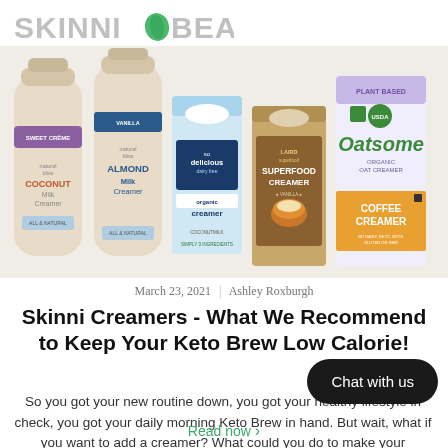SKINNIBEAN
[Figure (photo): Five non-dairy coffee creamer products displayed side by side: Natural Bliss Coconut Milk Creamer (Sweet Creme), Natural Bliss Almond Milk Creamer (Vanilla), So Delicious Organic Creamer (dairy free), Laird Superfood Creamer (Vanilla), and Oatsome Organic Oat Creamer Coffee Creamer (Plant Based, No Dairy/Keto/Soy/Gluten/GMO)]
March 23, 2021 | Ashley Roxburgh
Skinni Creamers - What We Recommend to Keep Your Keto Brew Low Calorie!
So you got your new routine down, you got your healthy lifestyle in check, you got your daily morning Keto Brew in hand. But wait, what if you want to add a creamer? What could you do to make your...
Read now >